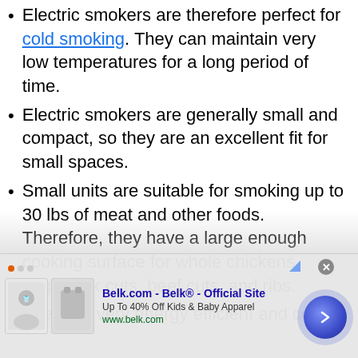Electric smokers are therefore perfect for cold smoking. They can maintain very low temperatures for a long period of time.
Electric smokers are generally small and compact, so they are an excellent fit for small spaces.
Small units are suitable for smoking up to 30 lbs of meat and other foods. Therefore, they have a large enough cooking surface for whole chickens, large pork cuts, beef cuts, and ribs.
They are very energy efficient and cost-